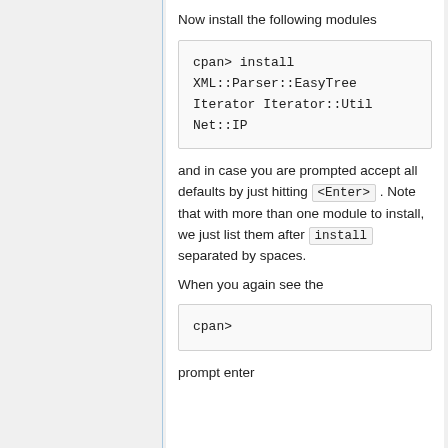Now install the following modules
cpan> install
XML::Parser::EasyTree
Iterator Iterator::Util
Net::IP
and in case you are prompted accept all defaults by just hitting <Enter>. Note that with more than one module to install, we just list them after install separated by spaces.
When you again see the
cpan>
prompt enter